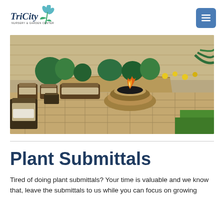TriCity Nursery & Garden Center
[Figure (photo): Outdoor patio with stone paver flooring, a circular stone fire pit with flame in the center, patio furniture with cushioned chairs and sofa on the left, a curved raised planter wall in the background filled with tropical plants and flowering shrubs, green grass visible on the right foreground.]
Plant Submittals
Tired of doing plant submittals? Your time is valuable and we know that, leave the submittals to us while you can focus on growing